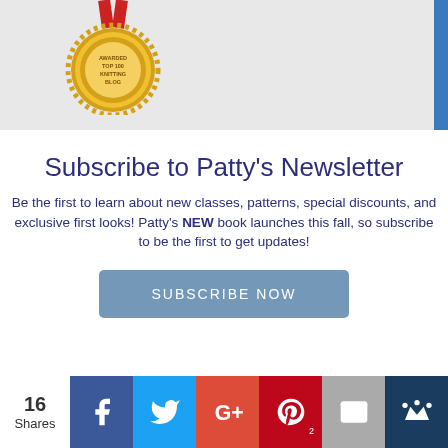[Figure (illustration): Gold circular award medal with red ribbon at top, text 'AWARDED TOP 100 KNITTING BLOG' on grey banner background]
Subscribe to Patty's Newsletter
Be the first to learn about new classes, patterns, special discounts, and exclusive first looks! Patty's NEW book launches this fall, so subscribe to be the first to get updates!
SUBSCRIBE NOW
16 Shares